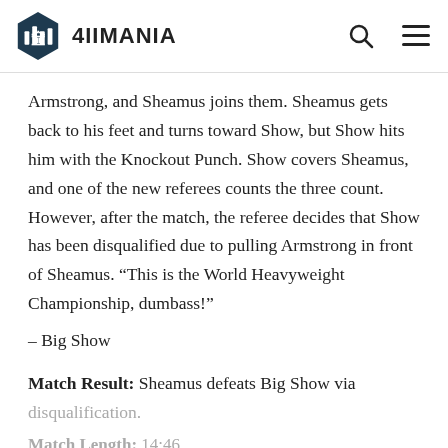4IIMANIA
Armstrong, and Sheamus joins them. Sheamus gets back to his feet and turns toward Show, but Show hits him with the Knockout Punch. Show covers Sheamus, and one of the new referees counts the three count. However, after the match, the referee decides that Show has been disqualified due to pulling Armstrong in front of Sheamus. “This is the World Heavyweight Championship, dumbass!” – Big Show
Match Result: Sheamus defeats Big Show via disqualification.
Match Length: 14:46